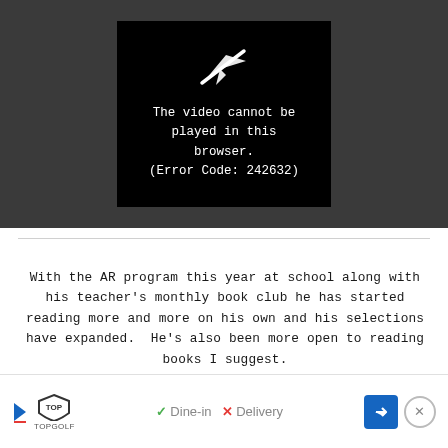[Figure (screenshot): Video player error screen with black background showing a broken video icon (paper airplane with slash) and error message: 'The video cannot be played in this browser. (Error Code: 242632)']
With the AR program this year at school along with his teacher's monthly book club he has started reading more and more on his own and his selections have expanded.  He's also been more open to reading books I suggest.
[Figure (screenshot): Advertisement bar for Topgolf showing play icon, Topgolf logo, checkmark Dine-in, X Delivery, blue navigation arrow button, and close X button]